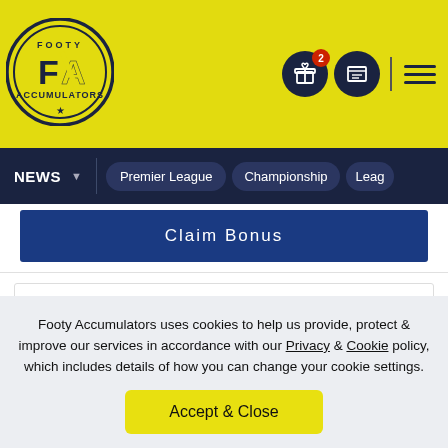[Figure (logo): Footy Accumulators circular logo with FA initials on yellow background]
Footy Accumulators website header with navigation icons and hamburger menu
NEWS | Premier League | Championship | Leag
Claim Bonus
🎁 UP TO £40 MONEY BACK AS BONUSES + A £10 CASINO BONUS 🎁
18+ begambleaware.org. New customers only. Min deposit £10. Money back as bonus if first sports bet loses. Wagering requirements: sportsbook 3x at min. odds of 1.40 (2/5), casino 50x. Unless forfeited the
Footy Accumulators uses cookies to help us provide, protect & improve our services in accordance with our Privacy & Cookie policy, which includes details of how you can change your cookie settings.
Accept & Close